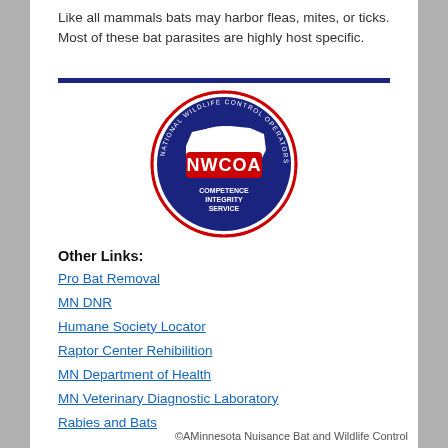Like all mammals bats may harbor fleas, mites, or ticks. Most of these bat parasites are highly host specific.
[Figure (logo): NWCOA (National Wildlife Control Operators Association) circular logo with red border, blue background, white map of USA, red 'NWCOA' text, and 'COMPETENCE INTEGRITY SERVICE' text at bottom.]
Other Links:
Pro Bat Removal
MN DNR
Humane Society Locator
Raptor Center Rehibilition
MN Department of Health
MN Veterinary Diagnostic Laboratory
Rabies and Bats
©AMinnesota Nuisance Bat and Wildlife Control